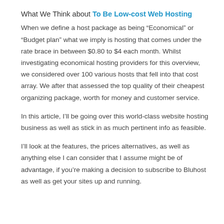What We Think about To Be Low-cost Web Hosting
When we define a host package as being “Economical” or “Budget plan” what we imply is hosting that comes under the rate brace in between $0.80 to $4 each month. Whilst investigating economical hosting providers for this overview, we considered over 100 various hosts that fell into that cost array. We after that assessed the top quality of their cheapest organizing package, worth for money and customer service.
In this article, I’ll be going over this world-class website hosting business as well as stick in as much pertinent info as feasible.
I’ll look at the features, the prices alternatives, as well as anything else I can consider that I assume might be of advantage, if you’re making a decision to subscribe to Bluhost as well as get your sites up and running.